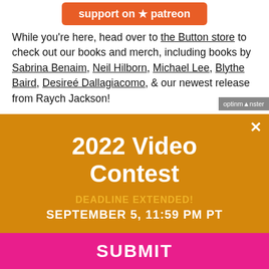[Figure (logo): Patreon 'Support on Patreon' button in orange/red]
While you're here, head over to the Button store to check out our books and merch, including books by Sabrina Benaim, Neil Hilborn, Michael Lee, Blythe Baird, Desireé Dallagiacomo, & our newest release from Raych Jackson!
[Figure (logo): OptinMonster badge/watermark in grey]
2022 Video Contest
DEADLINE EXTENDED!
SEPTEMBER 5, 11:59 PM PT
SUBMIT